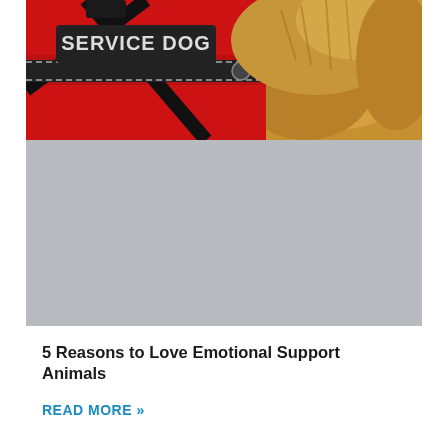[Figure (photo): Close-up photo of a golden retriever wearing a red service dog harness/vest with a black patch that reads 'SERVICE DOG' in white letters]
[Figure (photo): Gray placeholder image area, likely a second photo that is loading or not visible]
5 Reasons to Love Emotional Support Animals
READ MORE »